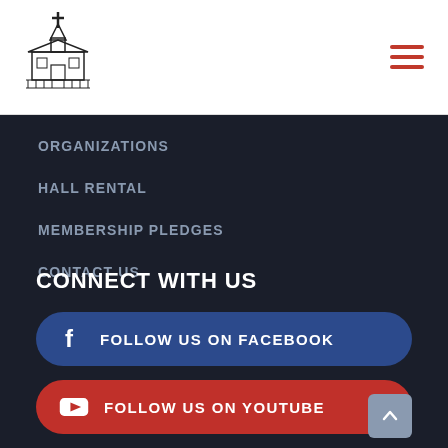[Figure (logo): Church building logo with cross on top]
ORGANIZATIONS
HALL RENTAL
MEMBERSHIP PLEDGES
CONTACT US
CONNECT WITH US
FOLLOW US ON FACEBOOK
FOLLOW US ON YOUTUBE
FOLLOW US ON INSTAGRAM